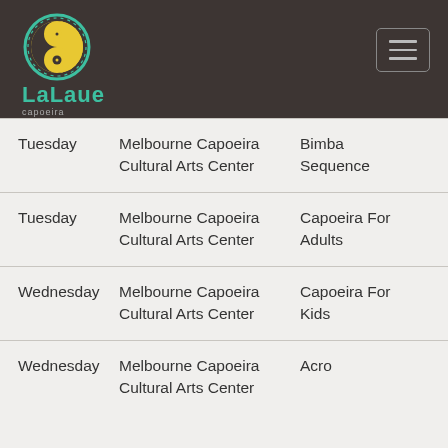LaLaue capoeira
| Day | Location | Class | Time |
| --- | --- | --- | --- |
| Tuesday | Melbourne Capoeira Cultural Arts Center | Bimba Sequence | 18:00 |
| Tuesday | Melbourne Capoeira Cultural Arts Center | Capoeira For Adults | 18:30 |
| Wednesday | Melbourne Capoeira Cultural Arts Center | Capoeira For Kids | 16:00 |
| Wednesday | Melbourne Capoeira Cultural Arts Center | Acro | 18:00 |